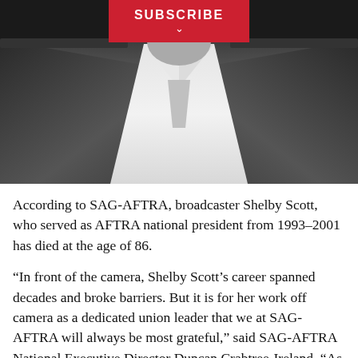[Figure (photo): Black and white photograph of a person from neck down, wearing a suit jacket with open collar white shirt. A red 'SUBSCRIBE' button with a chevron is overlaid at the top center of the image.]
According to SAG-AFTRA, broadcaster Shelby Scott, who served as AFTRA national president from 1993–2001 has died at the age of 86.
“In front of the camera, Shelby Scott’s career spanned decades and broke barriers. But it is for her work off camera as a dedicated union leader that we at SAG-AFTRA will always be most grateful,” said SAG-AFTRA National Executive Director Duncan Crabtree-Ireland. “As AFTRA national president for eight years, and a board member for many more, as a trustee on the